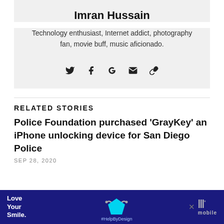Imran Hussain
Technology enthusiast, Internet addict, photography fan, movie buff, music aficionado.
[Figure (other): Social media icons: Twitter, Facebook, Google+, Email, Link]
RELATED STORIES
Police Foundation purchased ‘GrayKey’ an iPhone unlocking device for San Diego Police
SEP 28, 2020
[Figure (other): Advertisement banner: Love Your Smile. #HelpByDesign. Blue background with cyan pentagon shape.]